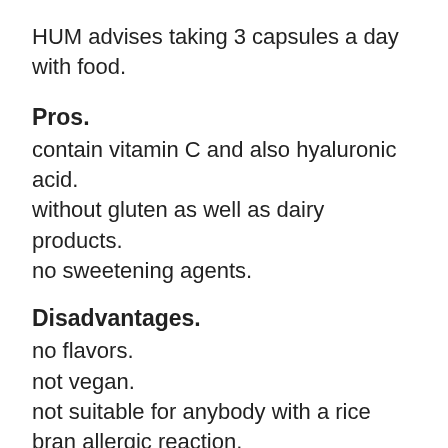HUM advises taking 3 capsules a day with food.
Pros.
contain vitamin C and also hyaluronic acid.
without gluten as well as dairy products.
no sweetening agents.
Disadvantages.
no flavors.
not vegan.
not suitable for anybody with a rice bran allergic reaction.
Vital Proteins Elegance Collagen.
Cost: $$$.